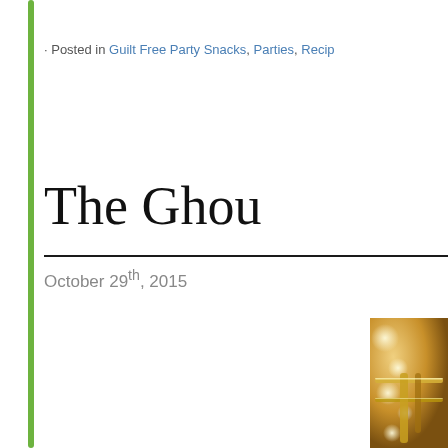· Posted in Guilt Free Party Snacks, Parties, Recip…
The Ghou
October 29th, 2015
[Figure (photo): Close-up photo of a musical instrument (trumpet or brass instrument) with bokeh lights in background, warm golden tones]